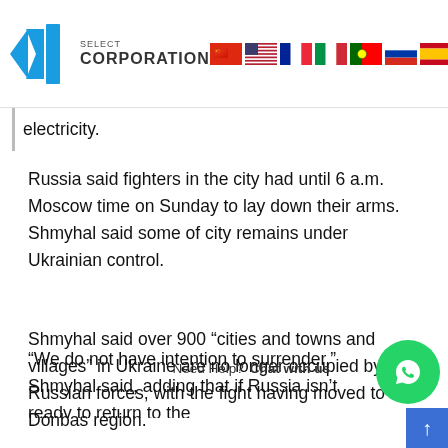BMG Select Corporation - logo and navigation with language flags
electricity.
Russia said fighters in the city had until 6 a.m. Moscow time on Sunday to lay down their arms. Shmyhal said some of city remains under Ukrainian control.
Shmyhal said over 900 “cities and towns and villages” in Ukraine are no longer occupied by Russian forces, with the fight having moved to the Donbas region.
“We do not have intention to surrender,” Shmyhal said, adding that if Russia isn’t ready to return to the